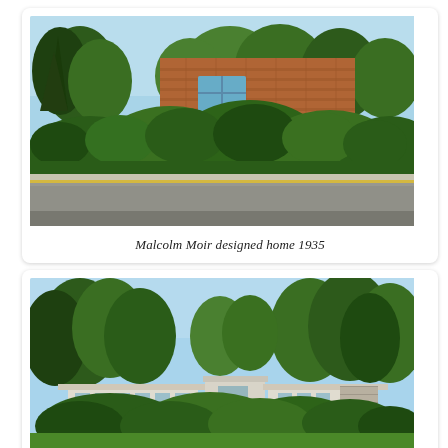[Figure (photo): Exterior photo of a brick modernist house partially obscured by a dense green hedge, with trees in the background and a road/footpath in the foreground. Sunny day with blue sky.]
Malcolm Moir designed home 1935
[Figure (photo): Exterior photo of a low-lying mid-century modern house with a flat overhanging roof, surrounded by lush green trees and a well-kept lawn. Sunny day with blue sky.]